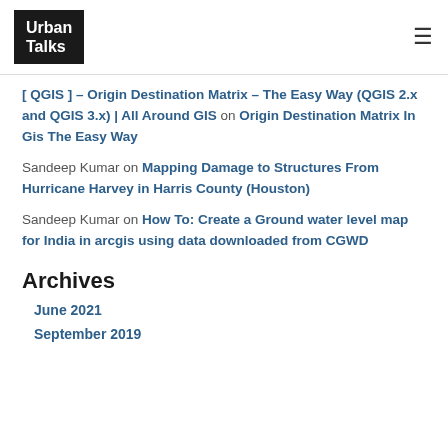Urban Talks
[ QGIS ] – Origin Destination Matrix – The Easy Way (QGIS 2.x and QGIS 3.x) | All Around GIS on Origin Destination Matrix In Gis The Easy Way
Sandeep Kumar on Mapping Damage to Structures From Hurricane Harvey in Harris County (Houston)
Sandeep Kumar on How To: Create a Ground water level map for India in arcgis using data downloaded from CGWD
Archives
June 2021
September 2019